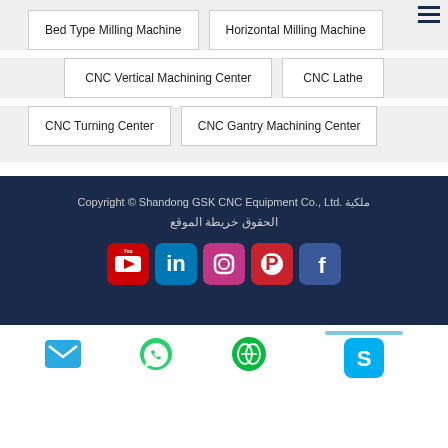Bed Type Milling Machine
Horizontal Milling Machine
CNC Vertical Machining Center
CNC Lathe
CNC Turning Center
CNC Gantry Machining Center
Copyright © Shandong GSK CNC Equipment Co., Ltd ملكية. خريطة الموقع الحقوق
[Figure (infographic): Social media icons: YouTube, LinkedIn, Instagram, Pinterest, Facebook]
[Figure (infographic): Bottom contact bar with email, WhatsApp, WeChat, Skype icons]